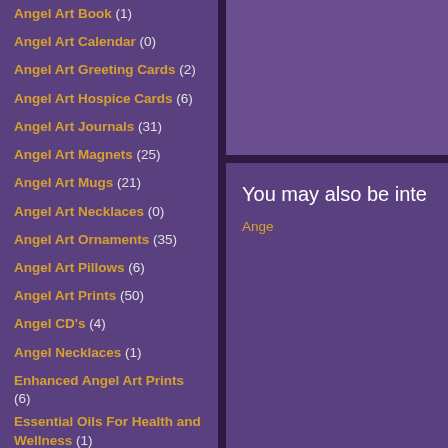Angel Art Book (1)
Angel Art Calendar (0)
Angel Art Greeting Cards (2)
Angel Art Hospice Cards (6)
Angel Art Journals (31)
Angel Art Magnets (25)
Angel Art Mugs (21)
Angel Art Necklaces (0)
Angel Art Ornaments (35)
Angel Art Pillows (6)
Angel Art Prints (50)
Angel CD's (4)
Angel Necklaces (1)
Enhanced Angel Art Prints (6)
Essential Oils For Health and Wellness (1)
Facebook Special (0)
You may also be inte...
Ange...
[Figure (photo): Thumbnail image of swirling blue and teal angel art]